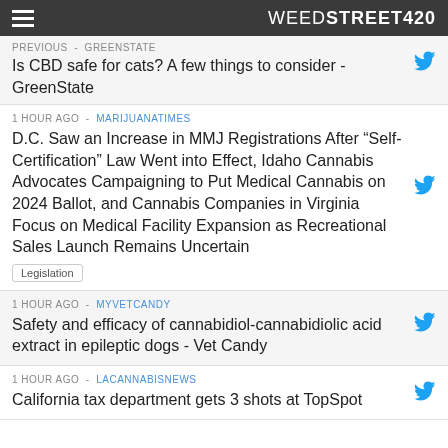WEEDSTREET420
PREVIOUS - GREENSTATE
Is CBD safe for cats? A few things to consider - GreenState
1 HOUR AGO - MARIJUANATIMES
D.C. Saw an Increase in MMJ Registrations After “Self-Certification” Law Went into Effect, Idaho Cannabis Advocates Campaigning to Put Medical Cannabis on 2024 Ballot, and Cannabis Companies in Virginia Focus on Medical Facility Expansion as Recreational Sales Launch Remains Uncertain
Legislation
1 HOUR AGO - MYVETCANDY
Safety and efficacy of cannabidiol-cannabidiolic acid extract in epileptic dogs - Vet Candy
1 HOUR AGO - LACANNABISNEWS
California tax department gets 3 shots at TopSpot